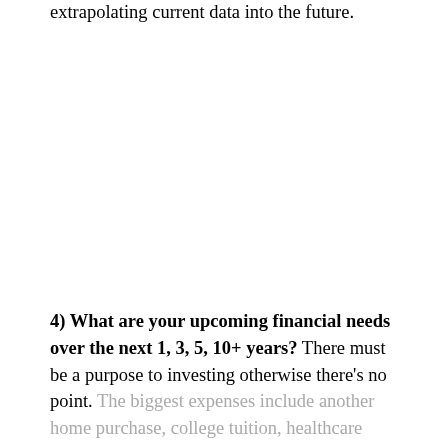extrapolating current data into the future.
4) What are your upcoming financial needs over the next 1, 3, 5, 10+ years? There must be a purpose to investing otherwise there's no point. The biggest expenses include another home purchase, college tuition, healthcare costs, and